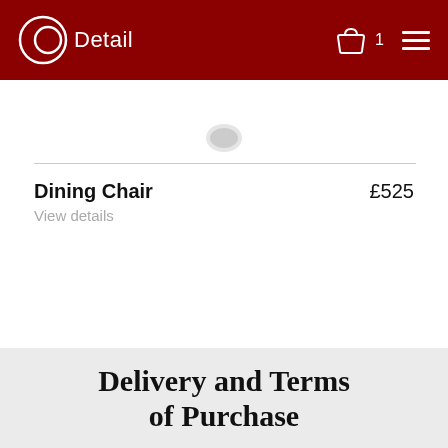Detail — shopping basket (1 item) — menu
[Figure (photo): Partial view of a dining chair product image at the top of the page]
Dining Chair — £525
View details